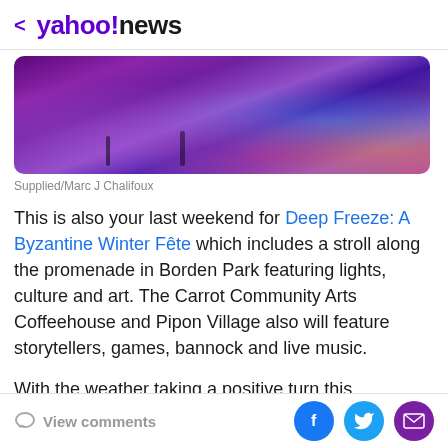< yahoo!news
[Figure (photo): Purple/violet lit outdoor night scene with people walking on ground with colorful lighting effects, blue and pink lights visible]
Supplied/Marc J Chalifoux
This is also your last weekend for Deep Freeze: A Byzantine Winter Fête which includes a stroll along the promenade in Borden Park featuring lights, culture and art. The Carrot Community Arts Coffeehouse and Pipon Village also will feature storytellers, games, bannock and live music.
With the weather taking a positive turn this weekend, it might also be time to hit the slopes. I would check
View comments